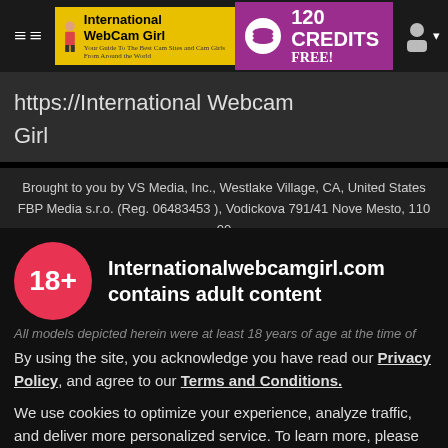International WebCam Girl — 120 CREDITS FREE!
https://International Webcam Girl
Brought to you by VS Media, Inc., Westlake Village, CA, United States FBP Media s.r.o. (Reg. 06483453 ), Vodickova 791/41 Nove Mesto, 110 00 Praha 1, Czech Republic
Internationalwebcamgirl.com contains adult content
All models depicted herein were at least 18 years of age at the time of
By using the site, you acknowledge you have read our Privacy Policy, and agree to our Terms and Conditions.
We use cookies to optimize your experience, analyze traffic, and deliver more personalized service. To learn more, please see our Privacy Policy.